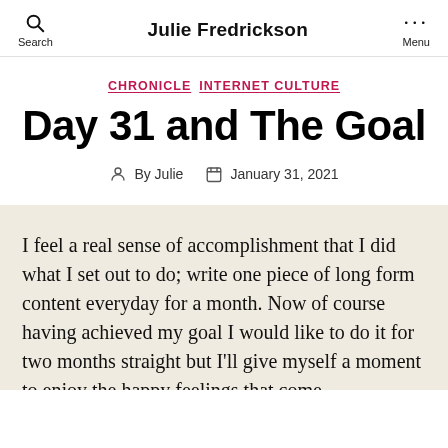Julie Fredrickson
CHRONICLE  INTERNET CULTURE
Day 31 and The Goal
By Julie  January 31, 2021
I feel a real sense of accomplishment that I did what I set out to do; write one piece of long form content everyday for a month. Now of course having achieved my goal I would like to do it for two months straight but I'll give myself a moment to enjoy the happy feelings that come